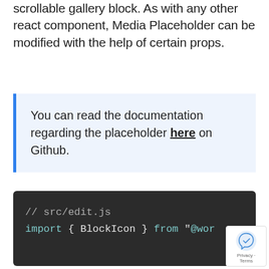scrollable gallery block. As with any other react component, Media Placeholder can be modified with the help of certain props.
You can read the documentation regarding the placeholder here on Github.
[Figure (screenshot): Dark-themed code block showing: // src/edit.js and import { BlockIcon } from "@wor...]